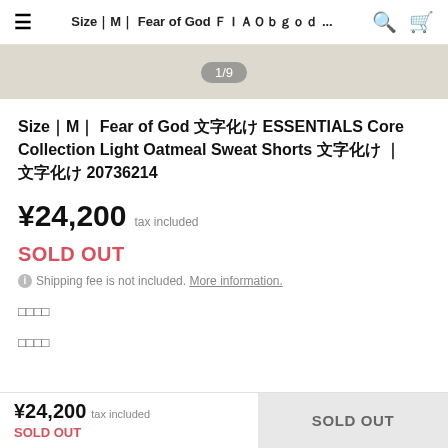Size｜M｜ Fear of God フィアオブゴッド ESSENTIALS Core Collection Light Oatmeal Sweat Shorts フィアオブゴッド ｜ フィアオブゴッドエッセンシャルズ 20736214
1/9
Size｜M｜ Fear of God フィアオブゴッド ESSENTIALS Core Collection Light Oatmeal Sweat Shorts フィアオブゴッド ｜ フィアオブゴッドエッセンシャルズ 20736214
¥24,200  tax included
SOLD OUT
Shipping fee is not included. More information.
サイズ
カラー
¥24,200 tax included SOLD OUT | SOLD OUT